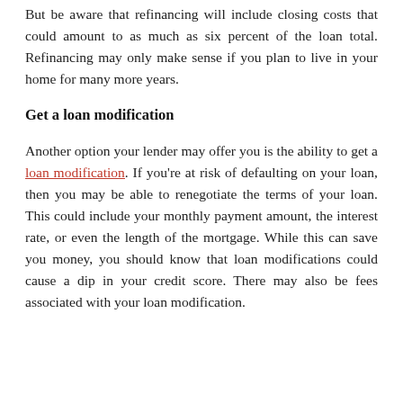But be aware that refinancing will include closing costs that could amount to as much as six percent of the loan total. Refinancing may only make sense if you plan to live in your home for many more years.
Get a loan modification
Another option your lender may offer you is the ability to get a loan modification. If you're at risk of defaulting on your loan, then you may be able to renegotiate the terms of your loan. This could include your monthly payment amount, the interest rate, or even the length of the mortgage. While this can save you money, you should know that loan modifications could cause a dip in your credit score. There may also be fees associated with your loan modification.